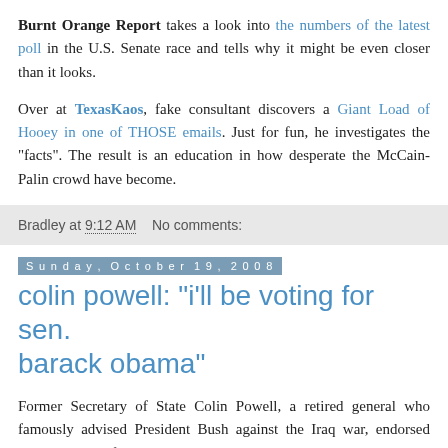Burnt Orange Report takes a look into the numbers of the latest poll in the U.S. Senate race and tells why it might be even closer than it looks.
Over at TexasKaos, fake consultant discovers a Giant Load of Hooey in one of THOSE emails. Just for fun, he investigates the "facts". The result is an education in how desperate the McCain-Palin crowd have become.
Bradley at 9:12 AM   No comments:
Sunday, October 19, 2008
colin powell: "i'll be voting for sen. barack obama"
Former Secretary of State Colin Powell, a retired general who famously advised President Bush against the Iraq war, endorsed Barack Obama for president today on Meet the Press.